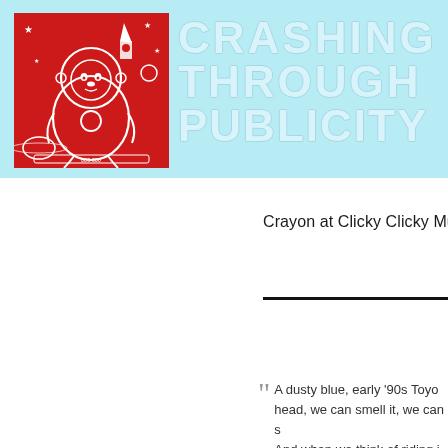[Figure (logo): Red square illustration of a monkey/chimp in an astronaut spacesuit helmet, surrounded by stars, a rocket, and planets, on a bright red background with white line-art drawing style. Part of the 'Crashing Through Publicity' blog header logo.]
CRASHING THROUGH PUBLICITY
Crayon at Clicky Clicky Music
A dusty blue, early '90s Toyo... head, we can smell it, we can s... And when we think of riding i...